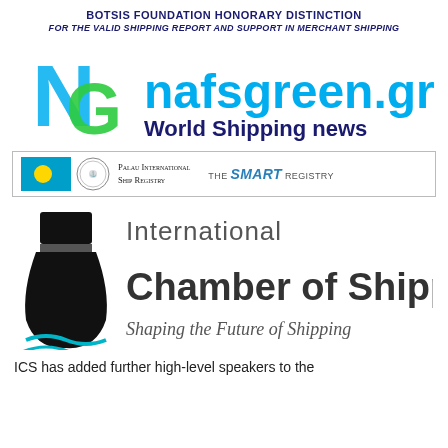BOTSIS FOUNDATION HONORARY DISTINCTION
FOR THE VALID SHIPPING REPORT AND SUPPORT IN MERCHANT SHIPPING
[Figure (logo): nafsgreen.gr World Shipping news logo with NG monogram in blue and green]
[Figure (logo): Palau International Ship Registry banner - THE SMART REGISTRY - with Palau flag and seal]
[Figure (logo): International Chamber of Shipping logo with ship funnel icon and tagline Shaping the Future of Shipping]
ICS has added further high-level speakers to the